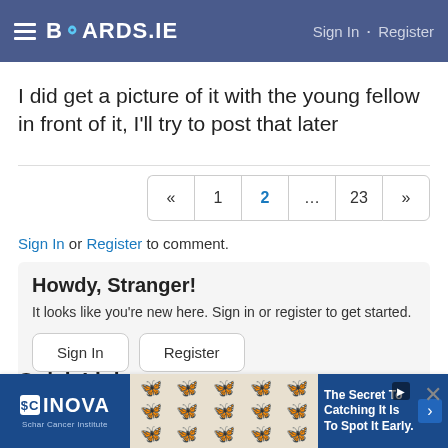BOARDS.IE  Sign In · Register
I did get a picture of it with the young fellow in front of it, I'll try to post that later
« 1 2 ... 23 »
Sign In or Register to comment.
Howdy, Stranger!
It looks like you're new here. Sign in or register to get started.
Sign In   Register
Quick Links
Categories
[Figure (screenshot): INOVA Schar Cancer Institute advertisement banner with butterfly imagery and text 'The Secret To Catching It Is To Spot It Early.']